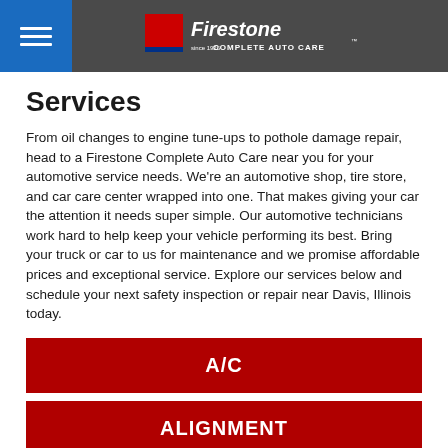Firestone Complete Auto Care
Services
From oil changes to engine tune-ups to pothole damage repair, head to a Firestone Complete Auto Care near you for your automotive service needs. We're an automotive shop, tire store, and car care center wrapped into one. That makes giving your car the attention it needs super simple. Our automotive technicians work hard to help keep your vehicle performing its best. Bring your truck or car to us for maintenance and we promise affordable prices and exceptional service. Explore our services below and schedule your next safety inspection or repair near Davis, Illinois today.
A/C
ALIGNMENT
AUTO REPAIR